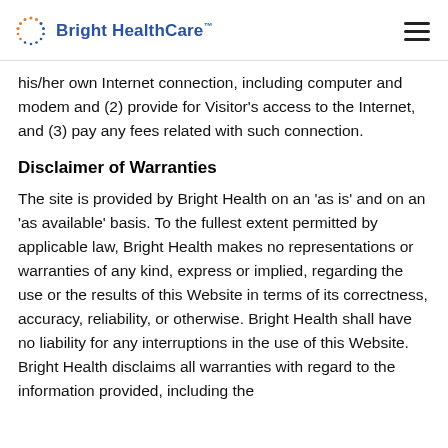Bright HealthCare™
his/her own Internet connection, including computer and modem and (2) provide for Visitor's access to the Internet, and (3) pay any fees related with such connection.
Disclaimer of Warranties
The site is provided by Bright Health on an 'as is' and on an 'as available' basis. To the fullest extent permitted by applicable law, Bright Health makes no representations or warranties of any kind, express or implied, regarding the use or the results of this Website in terms of its correctness, accuracy, reliability, or otherwise. Bright Health shall have no liability for any interruptions in the use of this Website. Bright Health disclaims all warranties with regard to the information provided, including the